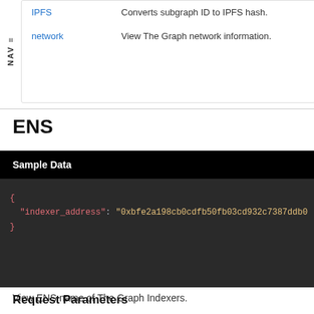| Link | Description |
| --- | --- |
| IPFS | Converts subgraph ID to IPFS hash. |
| network | View The Graph network information. |
ENS
Sample Data
{
  "indexer_address": "0xbfe2a198cb0cdfb50fb03cd932c7387ddb..."
}
View ENS name of The Graph Indexers.
Request Parameters